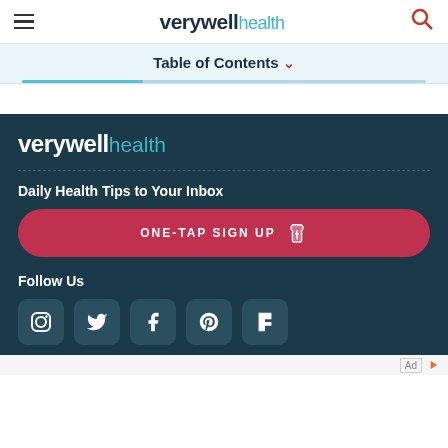verywell health
Table of Contents
[Figure (logo): Verywell Health logo in white text on dark teal background]
Daily Health Tips to Your Inbox
ONE-TAP SIGN UP
Follow Us
[Figure (infographic): Social media icons: Instagram, Twitter, Facebook, Pinterest, Flipboard]